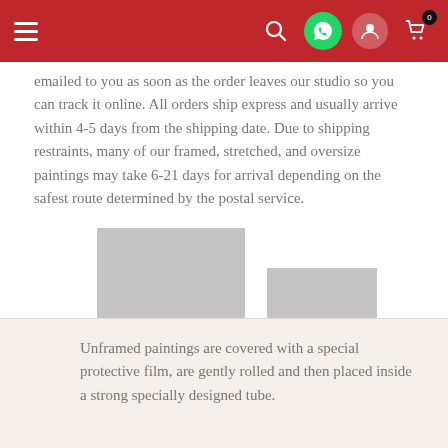Navigation header with hamburger menu, search, WhatsApp, account, and cart icons
emailed to you as soon as the order leaves our studio so you can track it online. All orders ship express and usually arrive within 4-5 days from the shipping date. Due to shipping restraints, many of our framed, stretched, and oversize paintings may take 6-21 days for arrival depending on the safest route determined by the postal service.
[Figure (photo): Three gray placeholder image boxes of varying sizes arranged in a row]
Unframed paintings are covered with a special protective film, are gently rolled and then placed inside a strong specially designed tube.